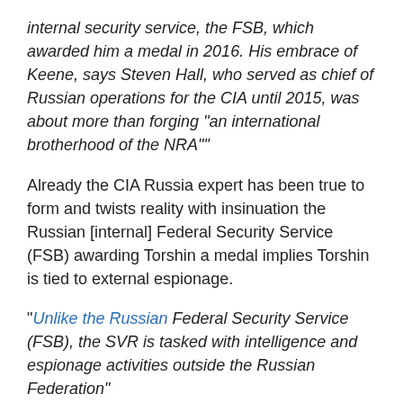internal security service, the FSB, which awarded him a medal in 2016. His embrace of Keene, says Steven Hall, who served as chief of Russian operations for the CIA until 2015, was about more than forging “an international brotherhood of the NRA””
Already the CIA Russia expert has been true to form and twists reality with insinuation the Russian [internal] Federal Security Service (FSB) awarding Torshin a medal implies Torshin is tied to external espionage.
“Unlike the Russian Federal Security Service (FSB), the SVR is tasked with intelligence and espionage activities outside the Russian Federation”
Nowhere in the RollingStone article does the SVR (Foreign Intelligence Service) come up. Why? Particularly